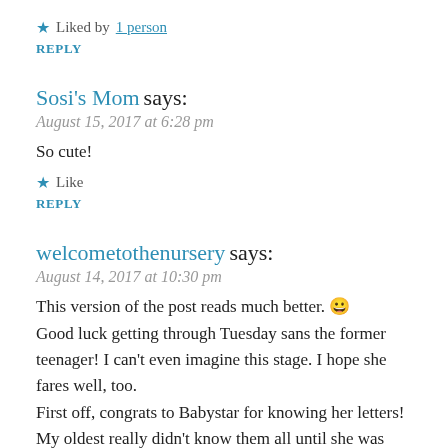★ Liked by 1 person
REPLY
Sosi's Mom says:
August 15, 2017 at 6:28 pm
So cute!
★ Like
REPLY
welcometothenursery says:
August 14, 2017 at 10:30 pm
This version of the post reads much better. 😀
Good luck getting through Tuesday sans the former teenager! I can't even imagine this stage. I hope she fares well, too.
First off, congrats to Babystar for knowing her letters! My oldest really didn't know them all until she was over 3, and we're still (slowly) working on lowercase. I like those cheap